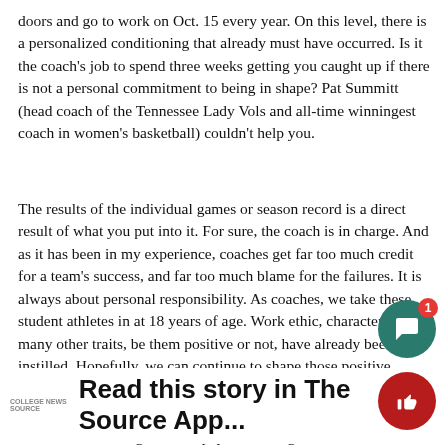doors and go to work on Oct. 15 every year. On this level, there is a personalized conditioning that already must have occurred. Is it the coach's job to spend three weeks getting you caught up if there is not a personal commitment to being in shape? Pat Summitt (head coach of the Tennessee Lady Vols and all-time winningest coach in women's basketball) couldn't help you.
The results of the individual games or season record is a direct result of what you put into it. For sure, the coach is in charge. And as it has been in my experience, coaches get far too much credit for a team's success, and far too much blame for the failures. It is always about personal responsibility. As coaches, we take these student athletes in at 18 years of age. Work ethic, character and many other traits, be them positive or not, have already been instilled. Hopefully, we can continue to shape those positive qualities. At times not. One thing my players hear a lot, and I believe it to my core, "College athletics does not build charac… reveals it…
While it is troubling the newspaper did not give Coach Dunla…